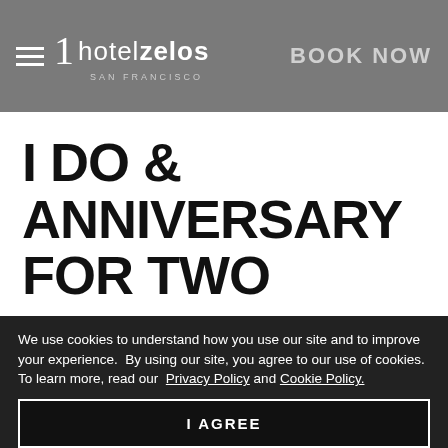1 hotelzelos SAN FRANCISCO | BOOK NOW
I DO & ANNIVERSARY FOR TWO
Congrats on finding the one! Sit back and pop the champagne while we get to work making your celebration unforgettable. Our I Do & Anniversary for Two package is perfect for intimate groups. Enjoy shimmering amenities and perks and, best of all, stress-free
We use cookies to understand how you use our site and to improve your experience.  By using our site, you agree to our use of cookies.  To learn more, read our  Privacy Policy and Cookie Policy.
I AGREE